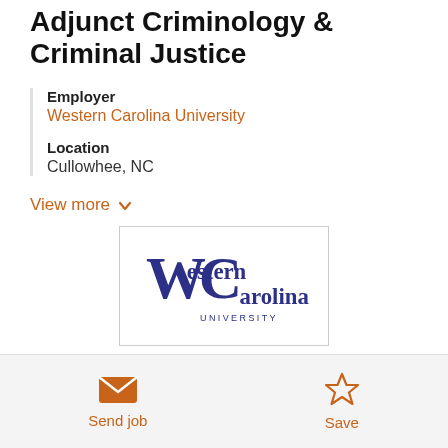Adjunct Criminology & Criminal Justice
Employer
Western Carolina University
Location
Cullowhee, NC
View more
[Figure (logo): Western Carolina University logo with stylized W/C letterform in dark navy blue and the text 'Western Carolina UNIVERSITY']
Send job
Save